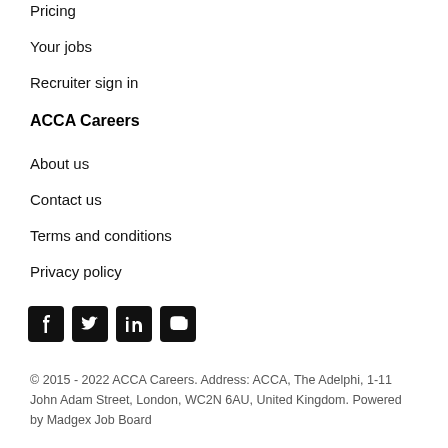Pricing
Your jobs
Recruiter sign in
ACCA Careers
About us
Contact us
Terms and conditions
Privacy policy
[Figure (other): Social media icons: Facebook, Twitter, LinkedIn, YouTube]
© 2015 - 2022 ACCA Careers. Address: ACCA, The Adelphi, 1-11 John Adam Street, London, WC2N 6AU, United Kingdom. Powered by Madgex Job Board